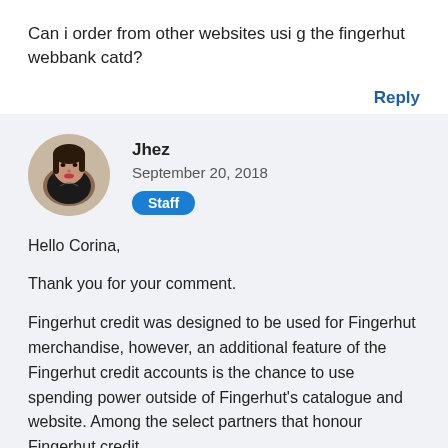Can i order from other websites usi g the fingerhut webbank catd?
Reply
[Figure (photo): Profile photo of a young woman with dark hair, wearing a dark jacket, circular avatar]
Jhez
September 20, 2018
Staff
Hello Corina,

Thank you for your comment.

Fingerhut credit was designed to be used for Fingerhut merchandise, however, an additional feature of the Fingerhut credit accounts is the chance to use spending power outside of Fingerhut's catalogue and website. Among the select partners that honour Fingerhut credit